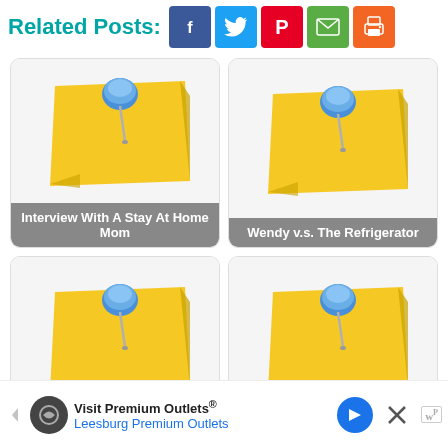Related Posts:
[Figure (screenshot): Social share buttons: Facebook, Twitter, Pinterest, Email, Print]
[Figure (illustration): Yellow sticky note with blue pushpin - Interview With A Stay At Home Mom]
[Figure (illustration): Yellow sticky note with blue pushpin - Wendy v.s. The Refrigerator]
[Figure (illustration): Yellow sticky note with blue pushpin - Movie Madness - Literally]
[Figure (illustration): Yellow sticky note with blue pushpin - Selecting Quality Child Care]
[Figure (screenshot): Ad banner: Visit Premium Outlets® Leesburg Premium Outlets]